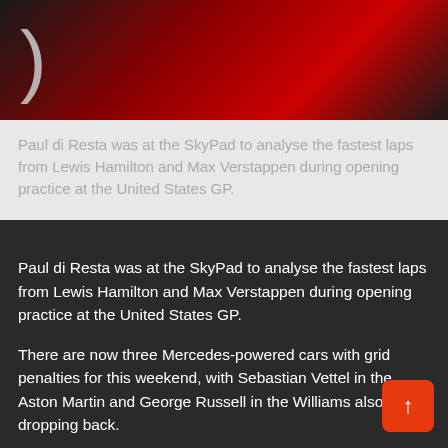[Figure (photo): Dark background image related to F1 racing with red and black tones, showing partial car/helmet details]
Paul di Resta was at the SkyPad to analyse the fastest laps from Lewis Hamilton and Max Verstappen during opening practice at the United States GP.
Paul di Resta was at the SkyPad to analyse the fastest laps from Lewis Hamilton and Max Verstappen during opening practice at the United States GP.
There are now three Mercedes-powered cars with grid penalties for this weekend, with Sebastian Vettel in the Aston Martin and George Russell in the Williams also dropping back.
Vettel and Russell have multiple elements changed on their engines, including the turbos and MGU-Hs, and so will start Sunday's race, live on Sky Sports F1 at 8pm, at